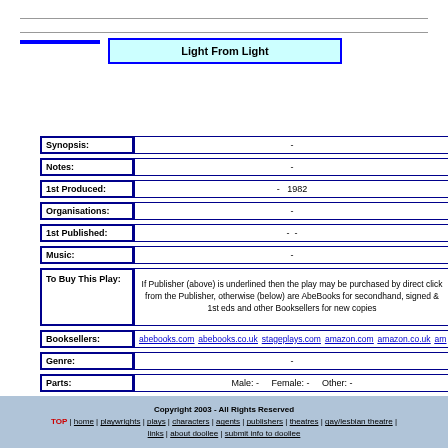Light From Light
| Field | Value |
| --- | --- |
| Synopsis: | - |
| Notes: | - |
| 1st Produced: | - 1982 |
| Organisations: | - |
| 1st Published: | - - |
| Music: | - |
| To Buy This Play: | If Publisher (above) is underlined then the play may be purchased by direct click from the Publisher, otherwise (below) are AbeBooks for secondhand, signed & 1st eds and other Booksellers for new copies |
| Booksellers: | abebooks.com  abebooks.co.uk  stageplays.com  amazon.com  amazon.co.uk  am... |
| Genre: | - |
| Parts: | Male: -   Female: -   Other: - |
| Further Reference: | National Library of Scotland ref: Traverse - Acc.9285/89 |
Top of Page
Copyright 2003 - All Rights Reserved | TOP | home | playwrights | plays | characters | agents | publishers | theatres | gay/lesbian theatre | links | about doollee | submit info to doollee